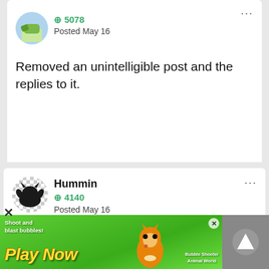[Figure (screenshot): Forum post card (top portion): avatar of a profile image, reputation score +5078, Posted May 16, three-dot menu, post text reading 'Removed an unintelligible post and the replies to it.']
Removed an unintelligible post and the replies to it.
[Figure (screenshot): Forum post card (bottom): username 'Hummin', avatar with black cat/creature silhouette on gray checkered background, reputation +4140, Posted May 16, three-dot menu]
[Figure (screenshot): Advertisement banner: 'Shoot and blast bubbles! Play Now' for Bubble Shooter Animal World game with cartoon tiger mascot, close X button, and dark gray scroll-up button]